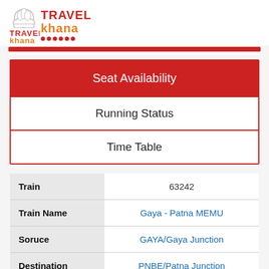[Figure (logo): TravelKhana logo with chef hat icon, red and orange text]
| Seat Availability |
| Running Status |
| Time Table |
|  |  |
| --- | --- |
| Train | 63242 |
| Train Name | Gaya - Patna MEMU |
| Soruce | GAYA/Gaya Junction |
| Destination | PNBE/Patna Junction |